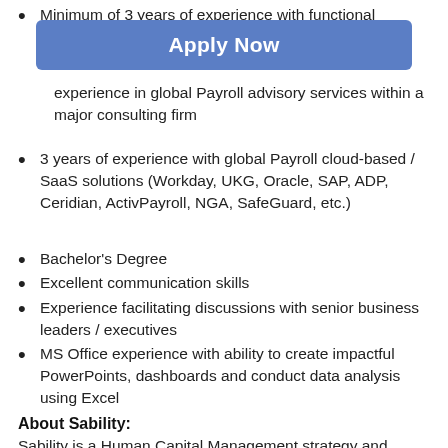Minimum of 3 years of experience with functional
[Figure (other): Apply Now button - blue rounded rectangle with white bold text]
experience in global Payroll advisory services within a major consulting firm
3 years of experience with global Payroll cloud-based / SaaS solutions (Workday, UKG, Oracle, SAP, ADP, Ceridian, ActivPayroll, NGA, SafeGuard, etc.)
Bachelor's Degree
Excellent communication skills
Experience facilitating discussions with senior business leaders / executives
MS Office experience with ability to create impactful PowerPoints, dashboards and conduct data analysis using Excel
About Sability:
Sability is a Human Capital Management strategy and software services Consultancy. We specialize in HCM and